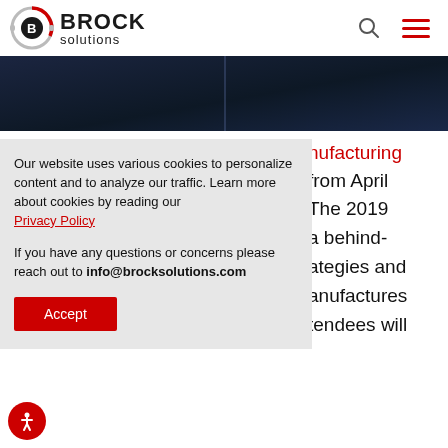[Figure (logo): Brock Solutions logo with circular icon and company name]
[Figure (photo): Dark moody hero banner image with a vertical line or pillar in the center]
Our website uses various cookies to personalize content and to analyze our traffic. Learn more about cookies by reading our Privacy Policy

If you have any questions or concerns please reach out to info@brocksolutions.com
nufacturing from April The 2019 a behind- ategies and anufactures tendees will